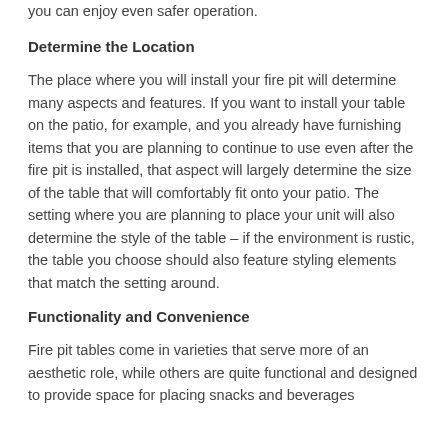you can enjoy even safer operation.
Determine the Location
The place where you will install your fire pit will determine many aspects and features. If you want to install your table on the patio, for example, and you already have furnishing items that you are planning to continue to use even after the fire pit is installed, that aspect will largely determine the size of the table that will comfortably fit onto your patio. The setting where you are planning to place your unit will also determine the style of the table – if the environment is rustic, the table you choose should also feature styling elements that match the setting around.
Functionality and Convenience
Fire pit tables come in varieties that serve more of an aesthetic role, while others are quite functional and designed to provide space for placing snacks and beverages